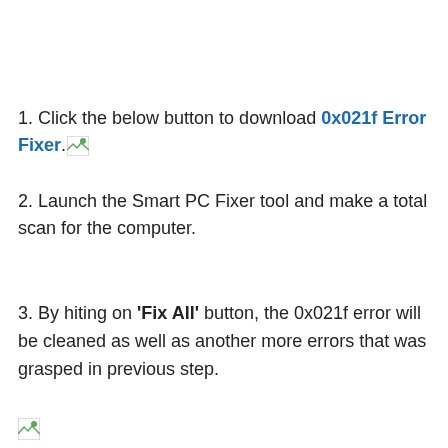1. Click the below button to download 0x021f Error Fixer.
2. Launch the Smart PC Fixer tool and make a total scan for the computer.
3. By hiting on 'Fix All' button, the 0x021f error will be cleaned as well as another more errors that was grasped in previous step.
[Figure (illustration): Small broken image icon at the bottom left of the page]